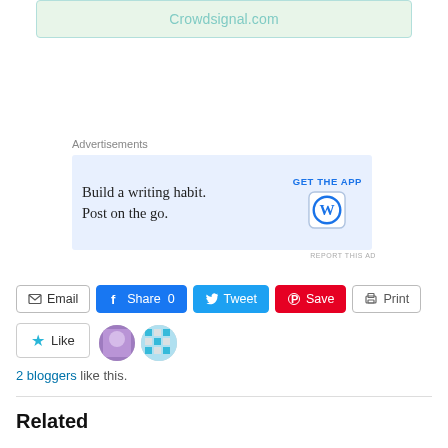[Figure (screenshot): Crowdsignal.com embedded widget box with light green background]
Advertisements
[Figure (screenshot): WordPress app advertisement banner: 'Build a writing habit. Post on the go.' with GET THE APP button and WordPress logo]
REPORT THIS AD
Email | Share 0 | Tweet | Save | Print
[Figure (screenshot): Like button with star icon, and two blogger avatars]
2 bloggers like this.
Related